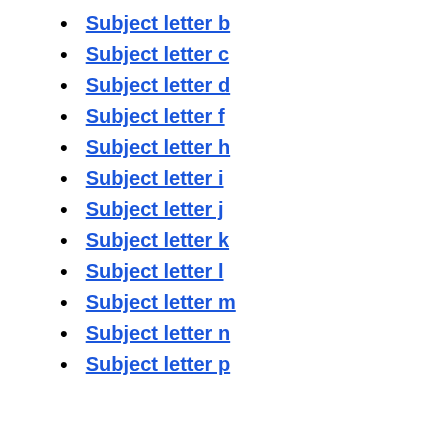Subject letter b
Subject letter c
Subject letter d
Subject letter f
Subject letter h
Subject letter i
Subject letter j
Subject letter k
Subject letter l
Subject letter m
Subject letter n
Subject letter p